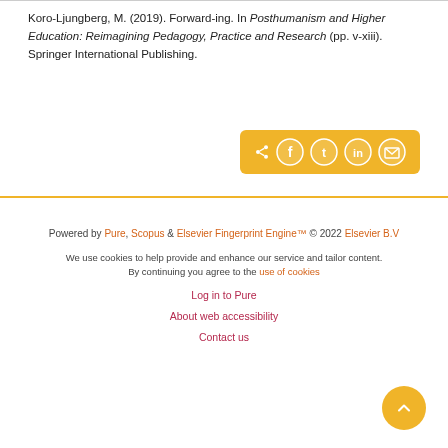Koro-Ljungberg, M. (2019). Forward-ing. In Posthumanism and Higher Education: Reimagining Pedagogy, Practice and Research (pp. v-xiii). Springer International Publishing.
[Figure (other): Golden share button with social media icons: share, Facebook, Twitter, LinkedIn, email]
Powered by Pure, Scopus & Elsevier Fingerprint Engine™ © 2022 Elsevier B.V
We use cookies to help provide and enhance our service and tailor content. By continuing you agree to the use of cookies
Log in to Pure
About web accessibility
Contact us